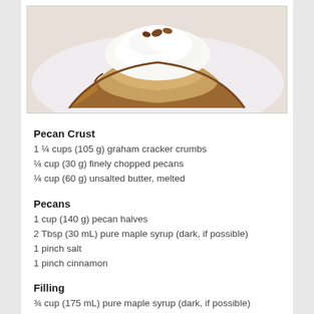[Figure (photo): A slice of pecan pie with whipped cream topping on a white plate, viewed from the side showing a graham cracker pecan crust.]
Pecan Crust
1 ¼ cups (105 g) graham cracker crumbs
¼ cup (30 g) finely chopped pecans
¼ cup (60 g) unsalted butter, melted
Pecans
1 cup (140 g) pecan halves
2 Tbsp (30 mL) pure maple syrup (dark, if possible)
1 pinch salt
1 pinch cinnamon
Filling
¾ cup (175 mL) pure maple syrup (dark, if possible)
½ cup (115 g) unsalted butter, cut into pieces
1 cup (250 mL) whipping cream